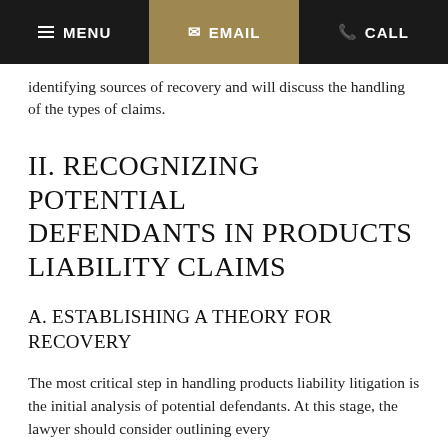MENU | EMAIL | CALL
identifying sources of recovery and will discuss the handling of the types of claims.
II. RECOGNIZING POTENTIAL DEFENDANTS IN PRODUCTS LIABILITY CLAIMS
A. ESTABLISHING A THEORY FOR RECOVERY
The most critical step in handling products liability litigation is the initial analysis of potential defendants. At this stage, the lawyer should consider outlining every